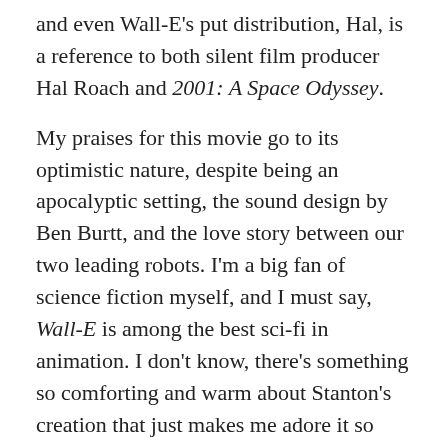and even Wall-E's put distribution, Hal, is a reference to both silent film producer Hal Roach and 2001: A Space Odyssey.
My praises for this movie go to its optimistic nature, despite being an apocalyptic setting, the sound design by Ben Burtt, and the love story between our two leading robots. I'm a big fan of science fiction myself, and I must say, Wall-E is among the best sci-fi in animation. I don't know, there's something so comforting and warm about Stanton's creation that just makes me adore it so much. And while I would say that the first third of the film is better than the rest of the film aboard the spaceship, the whole movie really is enjoyable. The imagery Pixar continues to offer and top themselves on are practically a given now, too.
It's understandable where some complaints about how